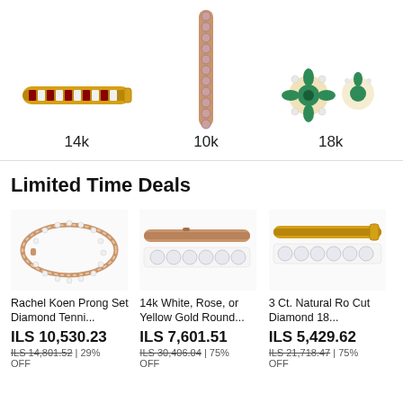[Figure (photo): Gold and ruby/diamond tennis bracelet labeled 14k]
14k
[Figure (photo): Rose gold tennis bracelet with pink/purple stones labeled 10k]
10k
[Figure (photo): 18k gold earrings with emerald and diamond stones labeled 18k]
18k
Limited Time Deals
[Figure (photo): Rachel Koen Prong Set Diamond Tennis bracelet in rose gold]
Rachel Koen Prong Set Diamond Tenni...
ILS 10,530.23
ILS 14,801.52 | 29% OFF
[Figure (photo): 14k White, Rose, or Yellow Gold Round diamond tennis bracelet]
14k White, Rose, or Yellow Gold Round...
ILS 7,601.51
ILS 30,406.04 | 75% OFF
[Figure (photo): 3 Ct. Natural Round Cut Diamond 18k tennis bracelet]
3 Ct. Natural Ro Cut Diamond 18...
ILS 5,429.62
ILS 21,718.47 | 75% OFF